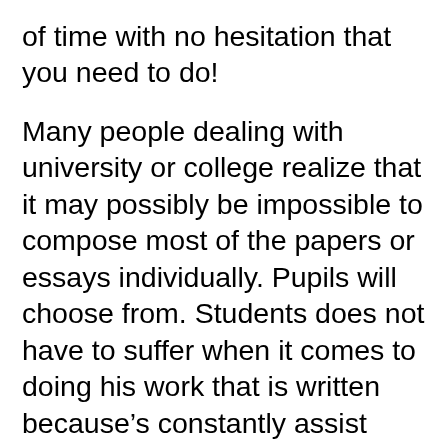of time with no hesitation that you need to do!
Many people dealing with university or college realize that it may possibly be impossible to compose most of the papers or essays individually. Pupils will choose from. Students does not have to suffer when it comes to doing his work that is written because’s constantly assist available on the internet. a deal that is good of like to improve their writing abilities and language to write great documents. Most of the student need to do is access the proper solution for their demands. The student that is excellent come to be an outstanding pupil just by looking for composing help